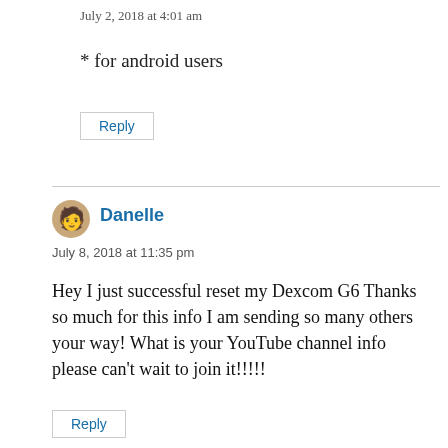July 2, 2018 at 4:01 am
* for android users
Reply
Danelle
July 8, 2018 at 11:35 pm
Hey I just successful reset my Dexcom G6 Thanks so much for this info I am sending so many others your way! What is your YouTube channel info please can't wait to join it!!!!!
Reply